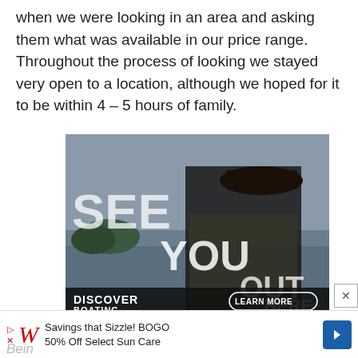when we were looking in an area and asking them what was available in our price range. Throughout the process of looking we stayed very open to a location, although we hoped for it to be within 4 – 5 hours of family.
[Figure (photo): Advertisement showing a person in camouflage gear looking out over a body of water. Large white text reads 'SEE YOU OUT HERE'. Below shows 'DISCOVER BOATING' with a 'LEARN MORE' button.]
[Figure (infographic): Walgreens advertisement banner: 'Savings that Sizzle! BOGO 50% Off Select Sun Care' with Walgreens logo and a blue navigation arrow icon.]